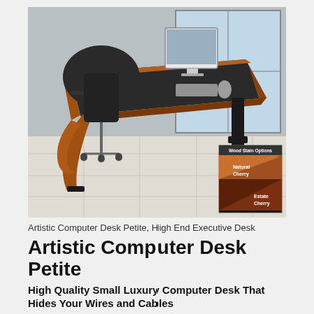[Figure (photo): Artistic Computer Desk Petite shown in a modern office setting with an ergonomic office chair, tiled floor, and large window in the background. The desk features a dark top surface with cherry wood curved legs and trim, and metal frame legs. An iMac monitor and wireless keyboard/mouse are on the desk. A wood stain options inset shows Natural Cherry and Estate Cherry options.]
Artistic Computer Desk Petite, High End Executive Desk
Artistic Computer Desk Petite
High Quality Small Luxury Computer Desk That Hides Your Wires and Cables